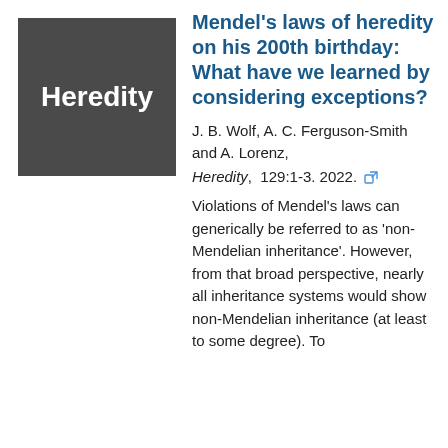[Figure (logo): Dark grey square with white bold text reading 'Heredity' — journal logo]
Mendel's laws of heredity on his 200th birthday: What have we learned by considering exceptions?
J. B. Wolf, A. C. Ferguson-Smith and A. Lorenz, Heredity, 129:1-3. 2022.
Violations of Mendel's laws can generically be referred to as 'non-Mendelian inheritance'. However, from that broad perspective, nearly all inheritance systems would show non-Mendelian inheritance (at least to some degree). To